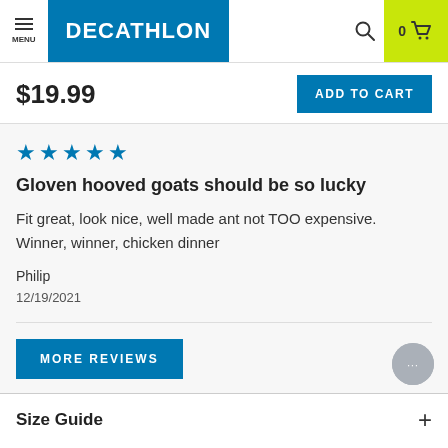MENU | DECATHLON | Search | 0 Cart
$19.99
ADD TO CART
[Figure (other): 5 blue star rating icons]
Gloven hooved goats should be so lucky
Fit great, look nice, well made ant not TOO expensive. Winner, winner, chicken dinner
Philip
12/19/2021
MORE REVIEWS
Size Guide